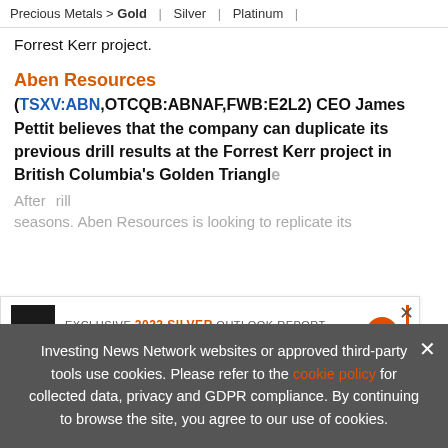Precious Metals > Gold | Silver | Platinum |
Forrest Kerr project.
Aben Resources
(TSXV:ABN,OTCQB:ABNAF,FWB:E2L2) CEO James Pettit believes that the company can duplicate its previous drill results at the Forrest Kerr project in British Columbia's Golden Triangle
After ... drill seasons. Aben Resources is looking to replicate its
[Figure (other): Advertisement banner: EXCLUSIVE 2022 SILVER OUTLOOK REPORT. TRENDS. FORECASTS. TOP STOCKS. with silver book image and orange arrow button.]
Investing News Network websites or approved third-party tools use cookies. Please refer to the cookie policy for collected data, privacy and GDPR compliance. By continuing to browse the site, you agree to our use of cookies.